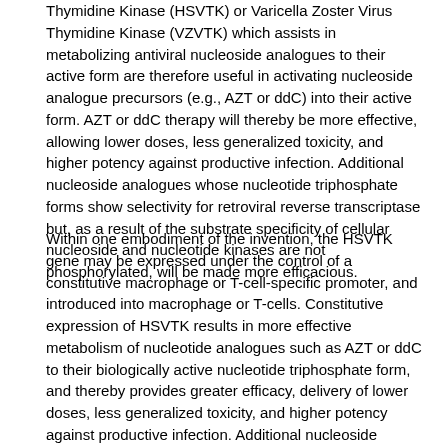Thymidine Kinase (HSVTK) or Varicella Zoster Virus Thymidine Kinase (VZVTK) which assists in metabolizing antiviral nucleoside analogues to their active form are therefore useful in activating nucleoside analogue precursors (e.g., AZT or ddC) into their active form. AZT or ddC therapy will thereby be more effective, allowing lower doses, less generalized toxicity, and higher potency against productive infection. Additional nucleoside analogues whose nucleotide triphosphate forms show selectivity for retroviral reverse transcriptase but, as a result of the substrate specificity of cellular nucleoside and nucleotide kinases are not phosphorylated, will be made more efficacious.
Within one embodiment of the invention, the HSVTK gene may be expressed under the control of a constitutive macrophage or T-cell-specific promoter, and introduced into macrophage or T-cells. Constitutive expression of HSVTK results in more effective metabolism of nucleotide analogues such as AZT or ddC to their biologically active nucleotide triphosphate form, and thereby provides greater efficacy, delivery of lower doses, less generalized toxicity, and higher potency against productive infection. Additional nucleoside analogues whose nucleotide triphosphate forms show selectivity for retroviral reverse transcriptase but, as a result of the substrate specificity of cellular nucleoside and nucleotide kinases are not phosphorylated, may also be utilized within the context of the present invention.